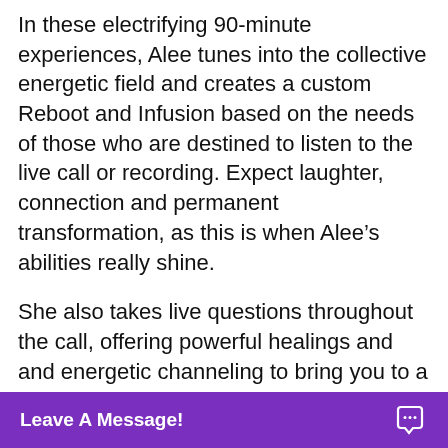In these electrifying 90-minute experiences, Alee tunes into the collective energetic field and creates a custom Reboot and Infusion based on the needs of those who are destined to listen to the live call or recording. Expect laughter, connection and permanent transformation, as this is when Alee’s abilities really shine.
She also takes live questions throughout the call, offering powerful healings and and energetic channeling to bring you to a new depth of focus and momentum in your progress. These calls are designed to work at highest pote... benefit for e...
[Figure (other): Purple chat widget bar at bottom of screen with text 'Leave A Message!' in white bold and a chat bubble icon on the right]